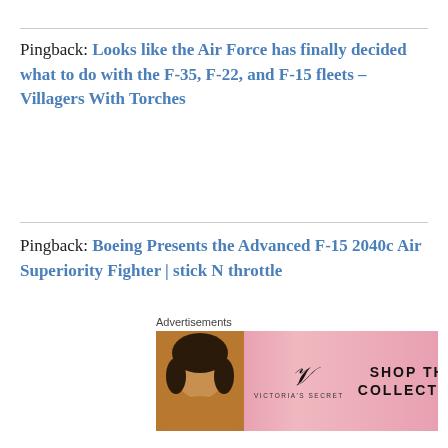Pingback: Looks like the Air Force has finally decided what to do with the F-35, F-22, and F-15 fleets – Villagers With Torches
Pingback: Boeing Presents the Advanced F-15 2040c Air Superiority Fighter | stick N throttle
Pingback: Israel Wants to Buy Boeing's Most Advanced Version of the F-15 Eagle – The Tactical Air Network
[Figure (other): Victoria's Secret advertisement banner: SHOP THE COLLECTION / SHOP NOW]